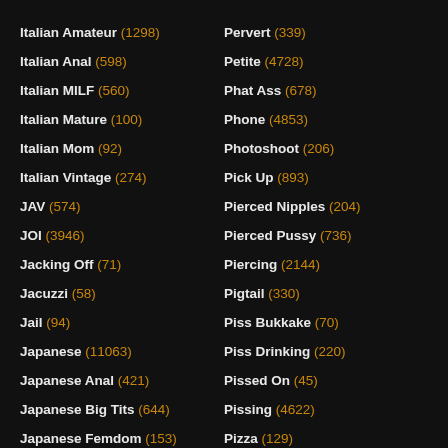Italian Amateur (1298)
Italian Anal (598)
Italian MILF (560)
Italian Mature (100)
Italian Mom (92)
Italian Vintage (274)
JAV (574)
JOI (3946)
Jacking Off (71)
Jacuzzi (58)
Jail (94)
Japanese (11063)
Japanese Anal (421)
Japanese Big Tits (644)
Japanese Femdom (153)
Pervert (339)
Petite (4728)
Phat Ass (678)
Phone (4853)
Photoshoot (206)
Pick Up (893)
Pierced Nipples (204)
Pierced Pussy (736)
Piercing (2144)
Pigtail (330)
Piss Bukkake (70)
Piss Drinking (220)
Pissed On (45)
Pissing (4622)
Pizza (129)